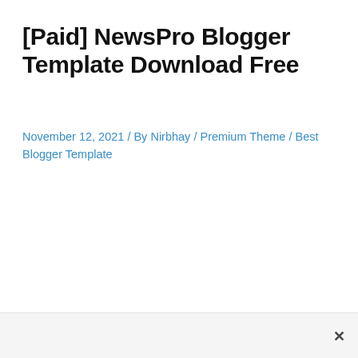[Paid] NewsPro Blogger Template Download Free
November 12, 2021 / By Nirbhay / Premium Theme / Best Blogger Template